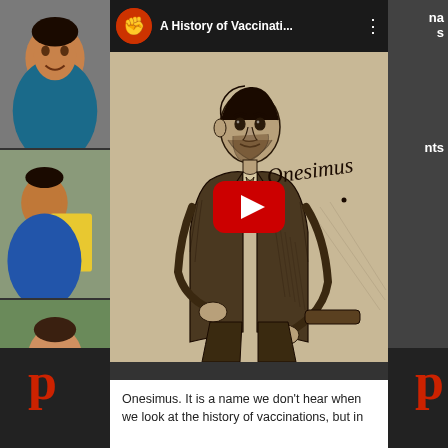[Figure (screenshot): Screenshot of a YouTube video player embedded in a mobile phone interface. The video is titled 'A History of Vaccinati...' and shows a pencil sketch illustration of a man labeled 'Onesimus' with a red YouTube play button overlay. Below the video is a caption beginning 'Onesimus. It is a name we don't hear when we look at the history of vaccinations, but in']
Onesimus. It is a name we don't hear when we look at the history of vaccinations, but in